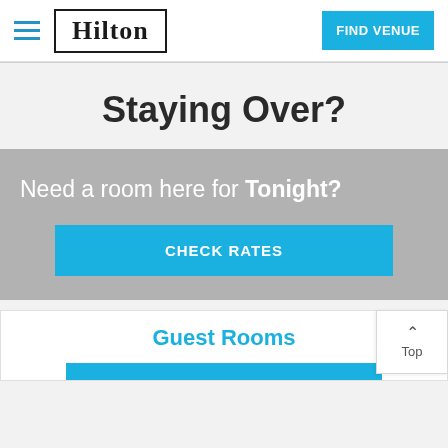[Figure (logo): Hilton hotel logo with hamburger menu icon and Find Venue button in navigation bar]
Staying Over?
[Figure (infographic): Gray promotional banner with text 'Need a room here for Tonight?' and a blue CHECK RATES button]
Guest Rooms